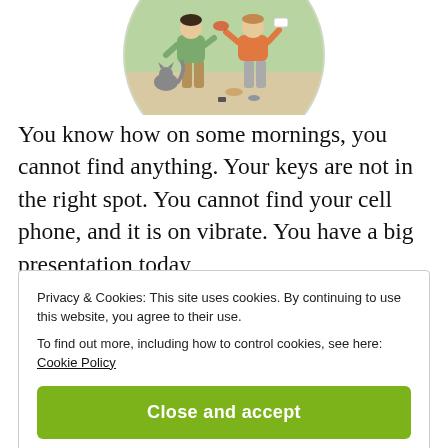[Figure (illustration): Circular illustration showing two people standing in a room with a cat, items scattered on the floor, with a green/light background.]
You know how on some mornings, you cannot find anything. Your keys are not in the right spot. You cannot find your cell phone, and it is on vibrate. You have a big presentation today,
Privacy & Cookies: This site uses cookies. By continuing to use this website, you agree to their use.
To find out more, including how to control cookies, see here: Cookie Policy
Close and accept
breakfast, dress, and head out...stress free and on time!